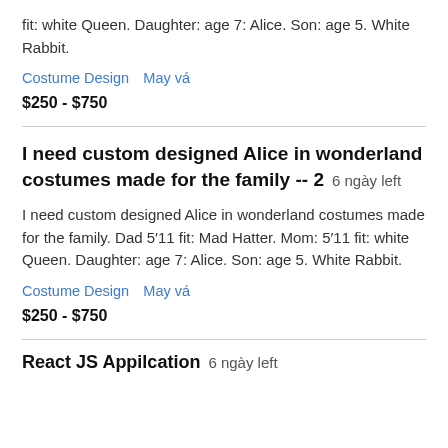fit: white Queen. Daughter: age 7: Alice. Son: age 5. White Rabbit.
Costume Design   May vá
$250 - $750
I need custom designed Alice in wonderland costumes made for the family -- 2   6 ngày left
I need custom designed Alice in wonderland costumes made for the family. Dad 5'11 fit: Mad Hatter. Mom: 5'11 fit: white Queen. Daughter: age 7: Alice. Son: age 5. White Rabbit.
Costume Design   May vá
$250 - $750
React JS Appilcation   6 ngày left